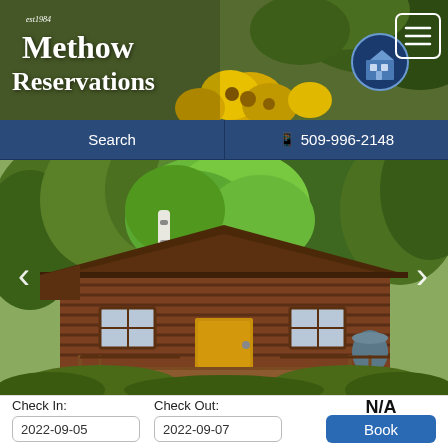[Figure (screenshot): Methow Reservations website header with logo showing company name and circular house icon on floral/foliage background, plus hamburger menu icon top right]
Search  |  📱 509-996-2148
[Figure (photo): Exterior photo of a log cabin surrounded by trees with green foliage, wooden front door, deck with railing, navigation arrows on left and right sides]
Check In:
Check Out:
N/A
2022-09-05
2022-09-07
Book